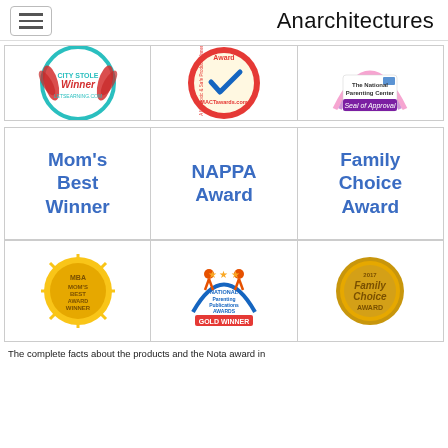Anarchitectures
[Figure (logo): Three award badge logos in a row: 'Winner' badge (teal/red laurel), MACTawards.com non-toxic safe product winner badge (red circle with checkmark), The National Parenting Center Seal of Approval badge (purple/pink)]
| Mom's Best Winner | NAPPA Award | Family Choice Award |
| --- | --- | --- |
[Figure (logo): Three award badge logos: Mom's Best Award Winner (gold sunburst), National Parenting Publications Awards Gold Winner (blue arc with orange kids), Family Choice Award 2017 (gold coin)]
The complete facts about the products and the Nota award in